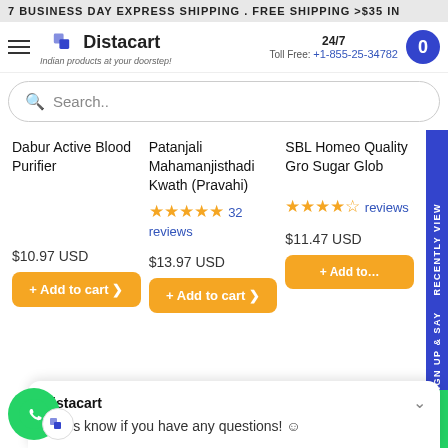7 BUSINESS DAY EXPRESS SHIPPING . FREE SHIPPING >$35 IN
[Figure (logo): Distacart logo with tagline 'Indian products at your doorstep!']
24/7 Toll Free: +1-855-25-34782
Search..
Dabur Active Blood Purifier
$10.97 USD
+ Add to cart
Patanjali Mahamanjisthadi Kwath (Pravahi)
32 reviews
$13.97 USD
+ Add to cart
SBL Homeo Quality Gro Sugar Glob
reviews
$11.47 USD
+ Add to
sign up & say RECENTLY VIEW
Distacart
Let us know if you have any questions! ☺